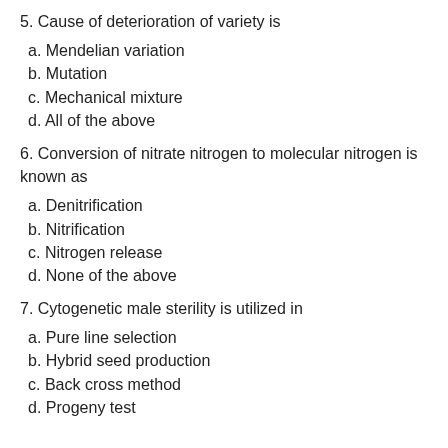5. Cause of deterioration of variety is
a. Mendelian variation
b. Mutation
c. Mechanical mixture
d. All of the above
6. Conversion of nitrate nitrogen to molecular nitrogen is known as
a. Denitrification
b. Nitrification
c. Nitrogen release
d. None of the above
7. Cytogenetic male sterility is utilized in
a. Pure line selection
b. Hybrid seed production
c. Back cross method
d. Progeny test